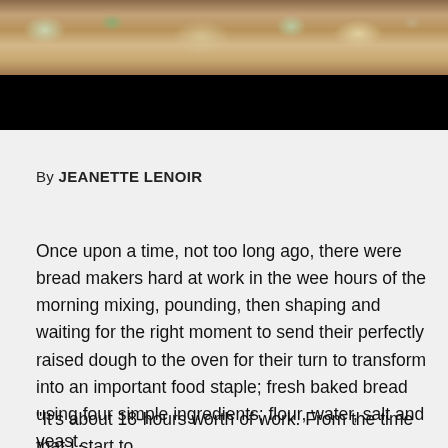[Figure (photo): Photograph of food items on a table, partially visible at top of page, with a black bar below it]
By JEANETTE LENOIR
Once upon a time, not too long ago, there were bread makers hard at work in the wee hours of the morning mixing, pounding, then shaping and waiting for the right moment to send their perfectly raised dough to the oven for their turn to transform into an important food staple; fresh baked bread using four simple ingredients; flour, water, salt and yeast.
“It’s about 18-hours worth of work. From the time that I start to